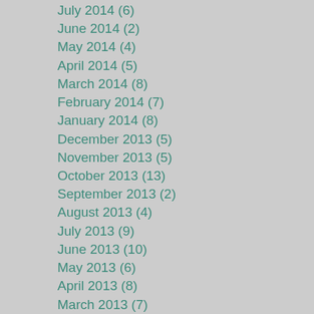July 2014 (6)
June 2014 (2)
May 2014 (4)
April 2014 (5)
March 2014 (8)
February 2014 (7)
January 2014 (8)
December 2013 (5)
November 2013 (5)
October 2013 (13)
September 2013 (2)
August 2013 (4)
July 2013 (9)
June 2013 (10)
May 2013 (6)
April 2013 (8)
March 2013 (7)
February 2013 (4)
January 2013 (6)
December 2012 (4)
November 2012 (9)